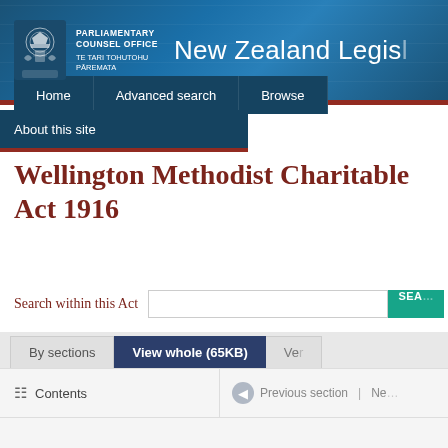[Figure (screenshot): New Zealand Parliamentary Counsel Office / New Zealand Legislation website header with logo, Te Tari Tohutohu Pāremata text, and site title 'New Zealand Legis...']
New Zealand Legis...
Home
Advanced search
Browse
About this site
Wellington Methodist Charitable Act 1916
Search within this Act
By sections
View whole (65KB)
Ve...
Contents
Previous section | Ne...